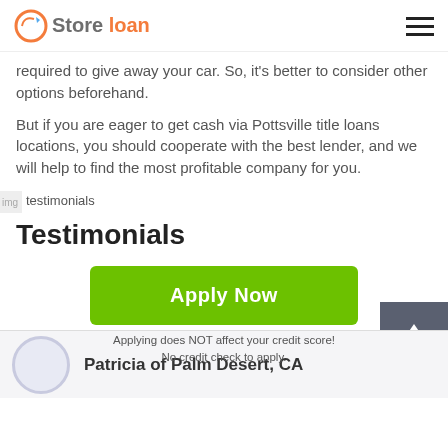Store loan
required to give away your car. So, it's better to consider other options beforehand.
But if you are eager to get cash via Pottsville title loans locations, you should cooperate with the best lender, and we will help to find the most profitable company for you.
[Figure (illustration): Testimonials icon/image placeholder]
Testimonials
Patricia of Palm Desert, CA
Apply Now
Applying does NOT affect your credit score!
No credit check to apply.